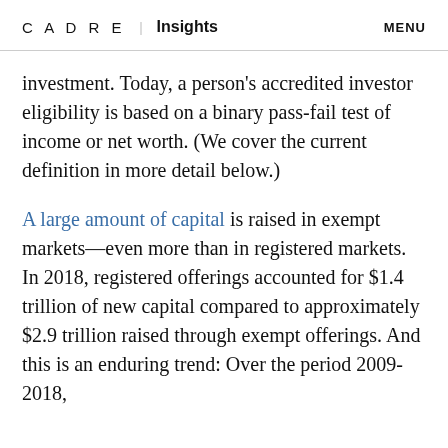CADRE | Insights  MENU
investment. Today, a person's accredited investor eligibility is based on a binary pass-fail test of income or net worth. (We cover the current definition in more detail below.)
A large amount of capital is raised in exempt markets—even more than in registered markets. In 2018, registered offerings accounted for $1.4 trillion of new capital compared to approximately $2.9 trillion raised through exempt offerings. And this is an enduring trend: Over the period 2009-2018,